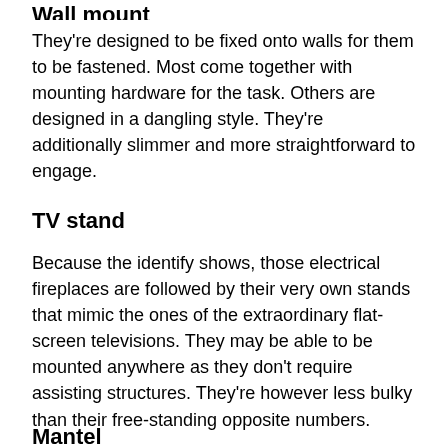Wall mount
They're designed to be fixed onto walls for them to be fastened. Most come together with mounting hardware for the task. Others are designed in a dangling style. They're additionally slimmer and more straightforward to engage.
TV stand
Because the identify shows, those electrical fireplaces are followed by their very own stands that mimic the ones of the extraordinary flat-screen televisions. They may be able to be mounted anywhere as they don't require assisting structures. They're however less bulky than their free-standing opposite numbers.
Mantel